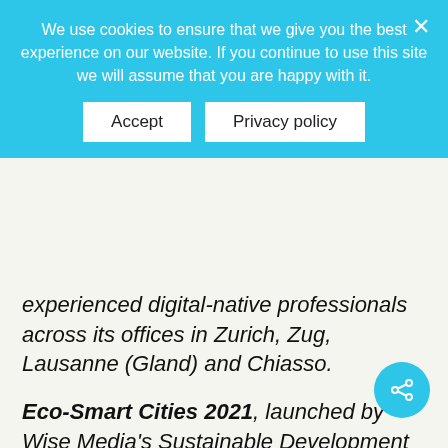We use cookies to ensure that we give you the best experience on our website. If you continue to use this site we will assume that you are happy with it.
Accept | Privacy policy
experienced digital-native professionals across its offices in Zurich, Zug, Lausanne (Gland) and Chiasso.
Eco-Smart Cities 2021, launched by Wise Media's Sustainable Development Advisory Board, Eco-Smart Cities 2021 opened its doors in Genova and Savona, Italy, on 22-23 October, gathering an international panel of policy makers, industry leaders and pioneering adopters of state-of-the-art solutions leaning on the latest digital technologies. The format of the event